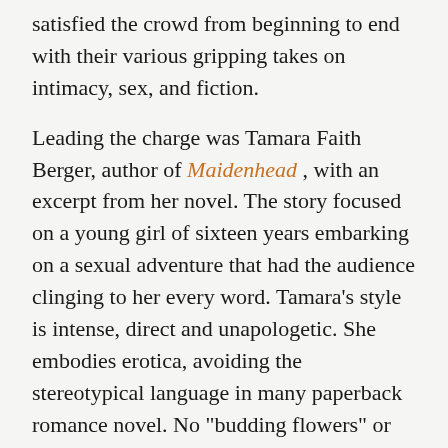satisfied the crowd from beginning to end with their various gripping takes on intimacy, sex, and fiction.
Leading the charge was Tamara Faith Berger, author of Maidenhead , with an excerpt from her novel. The story focused on a young girl of sixteen years embarking on a sexual adventure that had the audience clinging to her every word. Tamara's style is intense, direct and unapologetic. She embodies erotica, avoiding the stereotypical language in many paperback romance novel. No "budding flowers" or "yearning loins".  As we were taken on a journey through the eyes of the young girl, Tamara contrasted the impression of youth and innocence with hunger, lust and inhibition. Very stimulating, to say the least.
Following Tamara was Nerys Parry, author of Man and Other Natural Disasters , who explained her surprise at being an invited author for the CockTales evening.